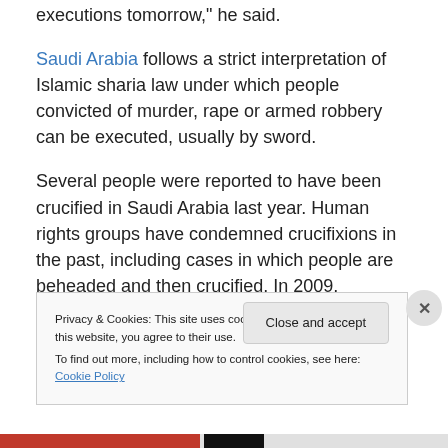executions tomorrow," he said.
Saudi Arabia follows a strict interpretation of Islamic sharia law under which people convicted of murder, rape or armed robbery can be executed, usually by sword.
Several people were reported to have been crucified in Saudi Arabia last year. Human rights groups have condemned crucifixions in the past, including cases in which people are beheaded and then crucified. In 2009, Amnesty International condemned such an execution as
Privacy & Cookies: This site uses cookies. By continuing to use this website, you agree to their use.
To find out more, including how to control cookies, see here: Cookie Policy
Close and accept